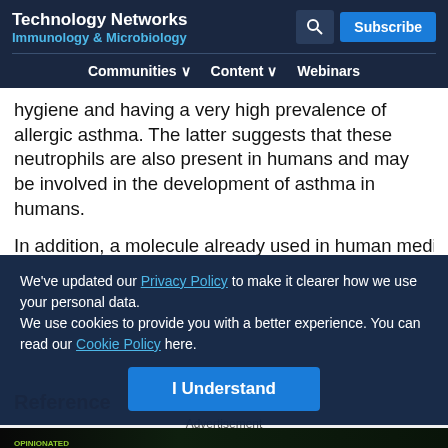Technology Networks
Immunology & Microbiology
Communities  Content  Webinars
hygiene and having a very high prevalence of allergic asthma. The latter suggests that these neutrophils are also present in humans and may be involved in the development of asthma in humans.
In addition, a molecule already used in human medicine to
We've updated our Privacy Policy to make it clearer how we use your personal data.
We use cookies to provide you with a better experience. You can read our Cookie Policy here.
I Understand
Reference
Advertisement
[Figure (infographic): Advertisement banner for 'Opinionated Science' podcast, Episode 02: Reacting to Bias in STEM, from Technology Networks, with Extraordinary Grace logo and a green Listen to the Podcast button.]